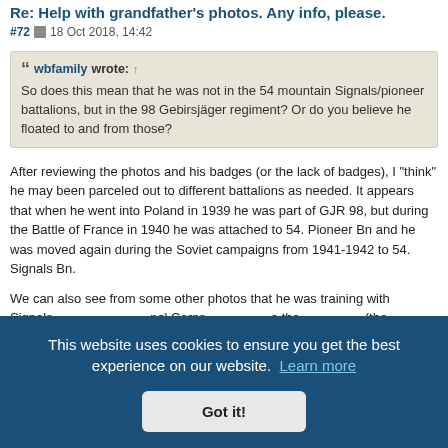Re: Help with grandfather's photos. Any info, please.
#72  18 Oct 2018, 14:42
wbfamily wrote: ↑
So does this mean that he was not in the 54 mountain Signals/pioneer battalions, but in the 98 Gebirsjäger regiment? Or do you believe he floated to and from those?
After reviewing the photos and his badges (or the lack of badges), I "think" he may been parceled out to different battalions as needed. It appears that when he went into Poland in 1939 he was part of GJR 98, but during the Battle of France in 1940 he was attached to 54. Pioneer Bn and he was moved again during the Soviet campaigns from 1941-1942 to 54. Signals Bn.
We can also see from some other photos that he was training with Signals ... nal Corps ... e the ... (the ...
This website uses cookies to ensure you get the best experience on our website. Learn more
Got it!